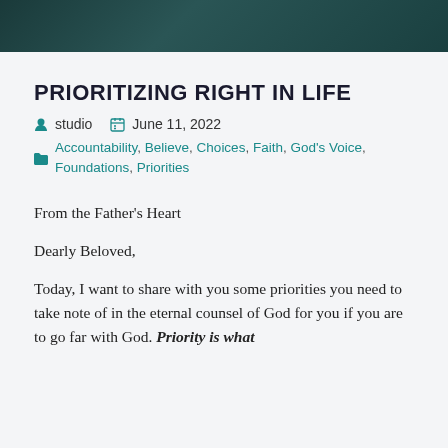[Figure (illustration): Dark teal/green decorative header bar at top of page]
PRIORITIZING RIGHT IN LIFE
studio   June 11, 2022
Accountability, Believe, Choices, Faith, God's Voice, Priorities, Priorities
From the Father's Heart
Dearly Beloved,
Today, I want to share with you some priorities you need to take note of in the eternal counsel of God for you if you are to go far with God. Priority is what